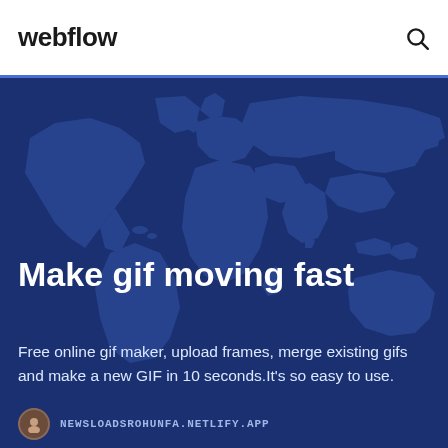webflow
Make gif moving fast
Free online gif maker, upload frames, merge existing gifs and make a new GIF in 10 seconds.It's so easy to use.
[Figure (illustration): World map silhouette on dark blue background used as hero section backdrop]
NEWSLOADSROHUNFA.NETLIFY.APP